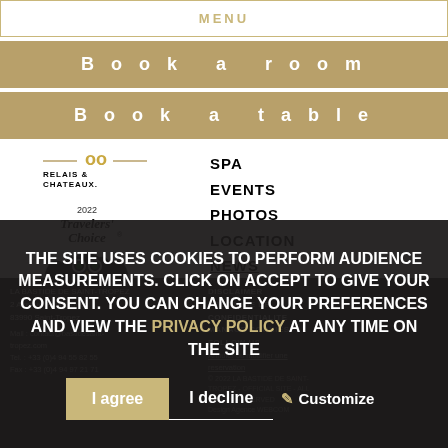MENU
Book a room
Book a table
[Figure (logo): Relais & Chateaux logo with decorative golden elements]
[Figure (logo): 2022 Travelers' Choice TripAdvisor badge with owl emblem]
SPA
EVENTS
PHOTOS
LOCATION
NEWS
DISCLAIMER
POLITIQUE DE CONFIDENTIALITE
MANAGE COOKIES
FOLLOW US
LA BASTIDE DE SAINT-TROPEZ
2 Avenue Paul Signac
83990 Saint-Tropez
Mail : contact@bastidesaint-tropez.com
Tel. : +33 (0)4 94 55 82 55
Fax : +33 (0)4 94 97 21 71
Annuler ou modifier une reservation
© 2022 LA BASTIDE DE SAINT-TROPEZ - OFFICIAL SITE - ALL RIGHTS RESERVED
Design Agence WEBCOM
THE SITE USES COOKIES TO PERFORM AUDIENCE MEASUREMENTS. CLICK ON ACCEPT TO GIVE YOUR CONSENT. YOU CAN CHANGE YOUR PREFERENCES AND VIEW THE PRIVACY POLICY AT ANY TIME ON THE SITE
I agree
I decline
Customize